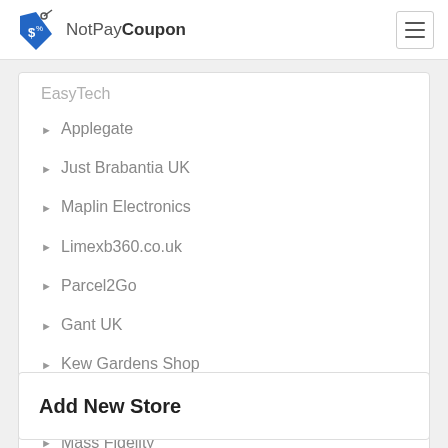NotPayCoupon
EasyTech
Applegate
Just Brabantia UK
Maplin Electronics
Limexb360.co.uk
Parcel2Go
Gant UK
Kew Gardens Shop
MAM
Mass Fidelity
Add New Store